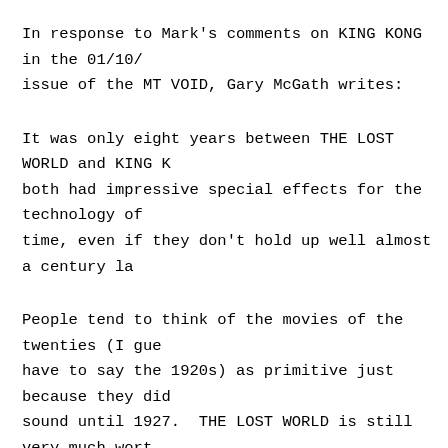In response to Mark's comments on KING KONG in the 01/10/ issue of the MT VOID, Gary McGath writes:
It was only eight years between THE LOST WORLD and KING K both had impressive special effects for the technology of time, even if they don't hold up well almost a century la
People tend to think of the movies of the twenties (I gue have to say the 1920s) as primitive just because they di sound until 1927.  THE LOST WORLD is still very much wort watching, and it was vastly better than the 1960 remake. nine years old when it came out, and I could tell that th using lizards for "dinosaurs"!)